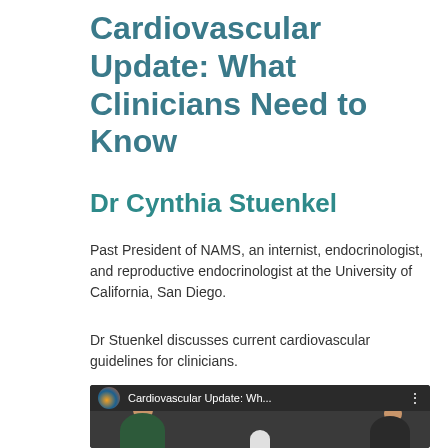Cardiovascular Update: What Clinicians Need to Know
Dr Cynthia Stuenkel
Past President of NAMS, an internist, endocrinologist, and reproductive endocrinologist at the University of California, San Diego.
Dr Stuenkel discusses current cardiovascular guidelines for clinicians.
[Figure (screenshot): Video thumbnail showing a YouTube-style video player with the title 'Cardiovascular Update: Wh...' and a circular avatar. Below is a scene of two women in an interview setting with a small round table between them.]